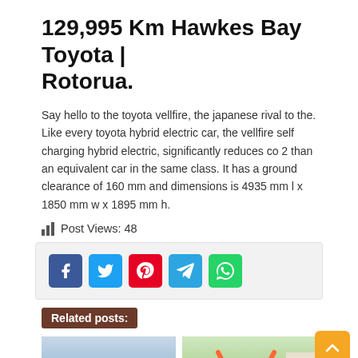129,995 Km Hawkes Bay Toyota | Rotorua.
Say hello to the toyota vellfire, the japanese rival to the. Like every toyota hybrid electric car, the vellfire self charging hybrid electric, significantly reduces co 2 than an equivalent car in the same class. It has a ground clearance of 160 mm and dimensions is 4935 mm l x 1850 mm w x 1895 mm h.
Post Views: 48
[Figure (other): Social share buttons: Facebook, Twitter, Pinterest, Telegram, WhatsApp]
Related posts:
[Figure (photo): Photo of a blue Nissan Leaf electric car]
[Figure (photo): Photo of a red sports car with scissor doors open]